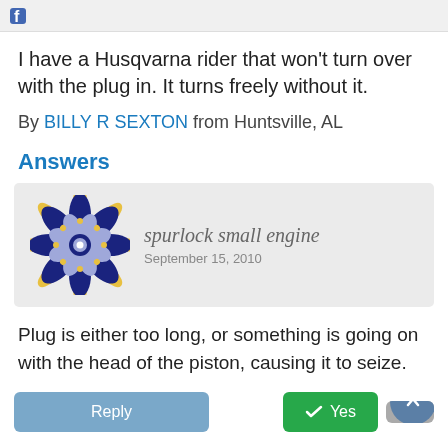[Figure (screenshot): Top gray bar with partial blue logo visible]
I have a Husqvarna rider that won't turn over with the plug in. It turns freely without it.
By BILLY R SEXTON from Huntsville, AL
Answers
[Figure (logo): Spurlock Small Engine decorative mandala logo in blue, purple, and gold]
Plug is either too long, or something is going on with the head of the piston, causing it to seize.